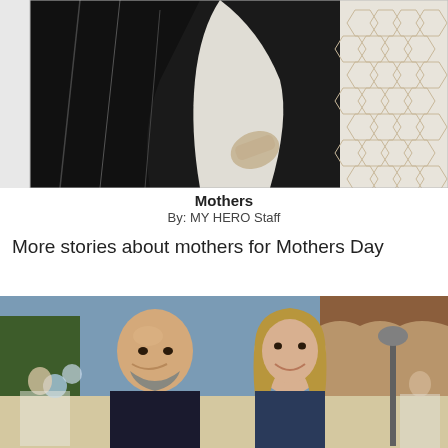[Figure (photo): Black and white artwork/mural showing figures in dark clothing, appears to be a mother and child embracing or together, with a decorative tile or honeycomb pattern background on the right side.]
Mothers
By: MY HERO Staff
More stories about mothers for Mothers Day
[Figure (photo): Color photograph of a smiling bald man with a grey beard and a smiling woman with shoulder-length brown/blonde hair, photographed outdoors at what appears to be a social event with balloons visible in the background and a building with terracotta roof tiles.]